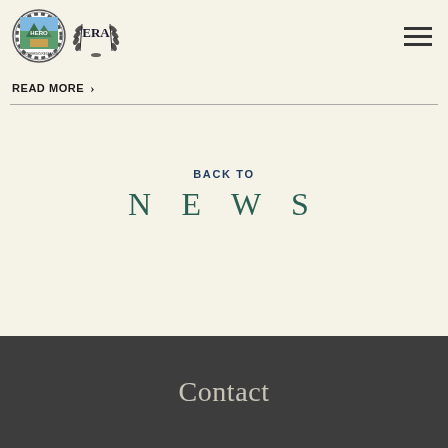[Figure (logo): HERO circular badge logo and ERA laurel wreath logo side by side]
READ MORE >
BACK TO
N E W S
Contact